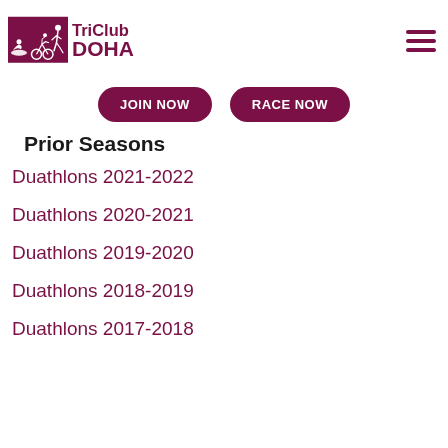[Figure (logo): TriClub Doha logo with triathlon athlete silhouettes (swimmer, cyclist, runner) in a maroon square, with 'TriClub DOHA' text in maroon]
[Figure (other): Hamburger menu icon (three horizontal lines) in maroon, top-right corner]
JOIN NOW
RACE NOW
Prior Seasons
Duathlons 2021-2022
Duathlons 2020-2021
Duathlons 2019-2020
Duathlons 2018-2019
Duathlons 2017-2018